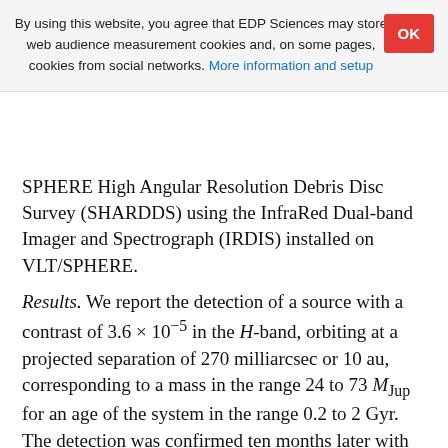By using this website, you agree that EDP Sciences may store web audience measurement cookies and, on some pages, cookies from social networks. More information and setup
SPHERE High Angular Resolution Debris Disc Survey (SHARDDS) using the InfraRed Dual-band Imager and Spectrograph (IRDIS) installed on VLT/SPHERE.
Results. We report the detection of a source with a contrast of 3.6 × 10⁻⁵ in the H-band, orbiting at a projected separation of 270 milliarcsec or 10 au, corresponding to a mass in the range 24 to 73 M_Jup for an age of the system in the range 0.2 to 2 Gyr. The detection was confirmed ten months later with VLT/NaCo, ruling out a background object with no proper motion. A faint extended emission compatible with the disc scattered light signal is also observed.
Conclusions. The detection of a low-mass companion